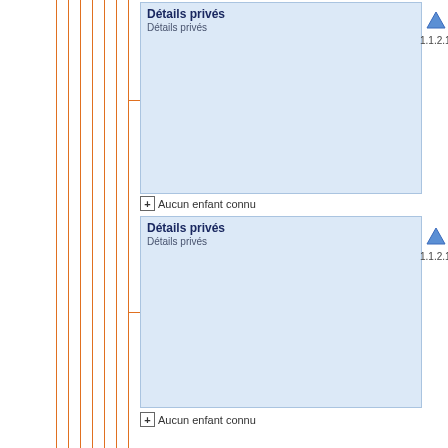[Figure (flowchart): Hierarchical tree diagram with multiple nodes labeled 'Détails privés'. Orange vertical lines on the left indicate hierarchy levels. Blue cards and one pink/red highlighted card with up arrows and version numbers (1.1.2.1, 1.1.2.1.3.). Expand/collapse controls shown as [+] and [-] icons. Four blue cards and one pink card visible, plus a partial card at the bottom.]